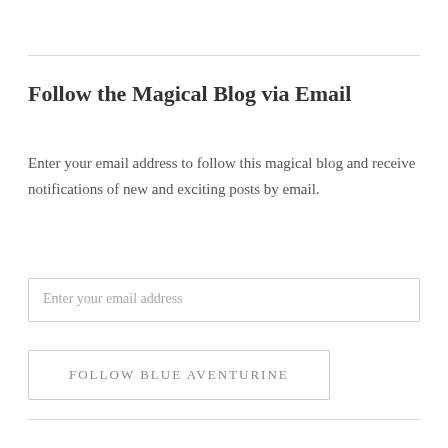Follow the Magical Blog via Email
Enter your email address to follow this magical blog and receive notifications of new and exciting posts by email.
Enter your email address
FOLLOW BLUE AVENTURINE